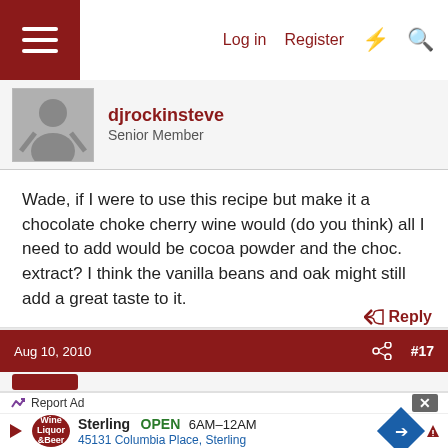Log in  Register
djrockinsteve
Senior Member
Wade, if I were to use this recipe but make it a chocolate choke cherry wine would (do you think) all I need to add would be cocoa powder and the choc. extract? I think the vanilla beans and oak might still add a great taste to it.

The gravity looks good, maybe a hair less.
Reply
Aug 10, 2010  #17
Report Ad
Sterling  OPEN  6AM–12AM  45131 Columbia Place, Sterling